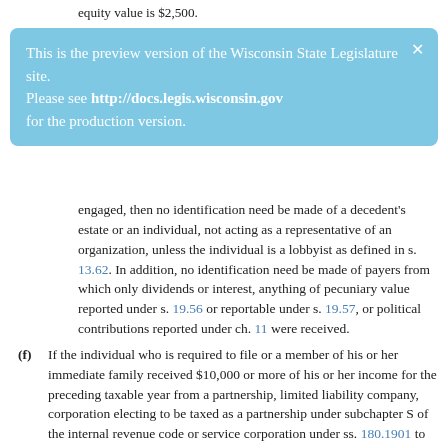equity value is $2,500.
[Figure (infographic): Blue notification overlay box reading: 'This is the preview version of the Wisconsin State Legislature site. Please see http://docs.legis.wisconsin.gov for the production version.' with an X close button.]
engaged, then no identification need be made of a decedent's estate or an individual, not acting as a representative of an organization, unless the individual is a lobbyist as defined in s. 13.62. In addition, no identification need be made of payers from which only dividends or interest, anything of pecuniary value reported under s. 19.56 or reportable under s. 19.57, or political contributions reported under ch. 11 were received.
(f) If the individual who is required to file or a member of his or her immediate family received $10,000 or more of his or her income for the preceding taxable year from a partnership, limited liability company, corporation electing to be taxed as a partnership under subchapter S of the internal revenue code or service corporation under ss. 180.1901 to 180.1921 in which the individual or a member of his or her immediate family, severally or in the aggregate, has a 10 percent or greater interest, the identity of each payer from which the organization received $10,000 or more of its income for its preceding taxable year, exc that if the individual who is required to file identifies the